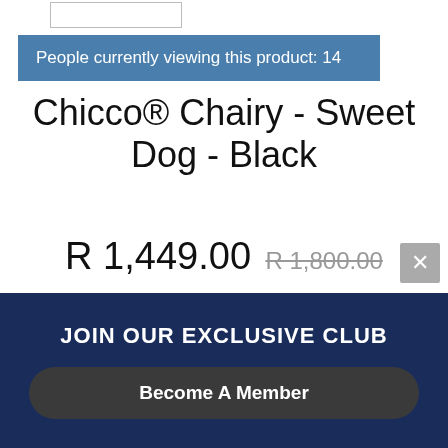People currently viewing this product:  14
Chicco® Chairy - Sweet Dog - Black
R 1,449.00  R 1,800.00
Sorry, this item is out of stock
★★★★★ (1)
Qty
JOIN OUR EXCLUSIVE CLUB
Become A Member